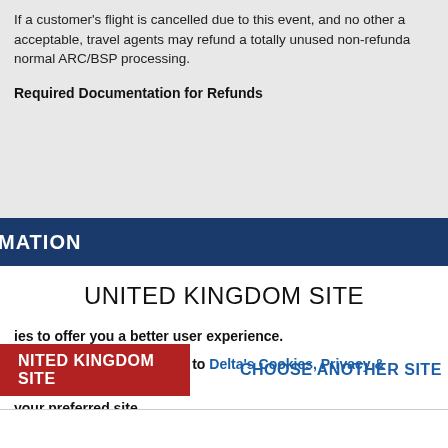If a customer's flight is cancelled due to this event, and no other acceptable, travel agents may refund a totally unused non-refunda normal ARC/BSP processing.
Required Documentation for Refunds
MATION
UNITED KINGDOM SITE
ies to offer you a better user experience.
bowse this site, you agree to Delta's Cookies, Privacy & Security Policy.
your preferred site.
outdated browser, for optimal site experience we recommend updating to a later
NITED KINGDOM SITE
CHOOSE ANOTHER SITE